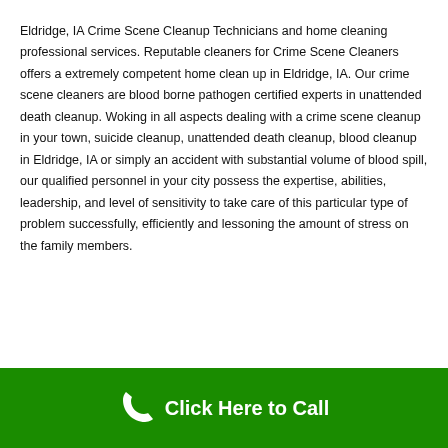Eldridge, IA Crime Scene Cleanup Technicians and home cleaning professional services. Reputable cleaners for Crime Scene Cleaners offers a extremely competent home clean up in Eldridge, IA. Our crime scene cleaners are blood borne pathogen certified experts in unattended death cleanup. Woking in all aspects dealing with a crime scene cleanup in your town, suicide cleanup, unattended death cleanup, blood cleanup in Eldridge, IA or simply an accident with substantial volume of blood spill, our qualified personnel in your city possess the expertise, abilities, leadership, and level of sensitivity to take care of this particular type of problem successfully, efficiently and lessoning the amount of stress on the family members.
[Figure (infographic): Green banner with phone icon and 'Click Here to Call' text]